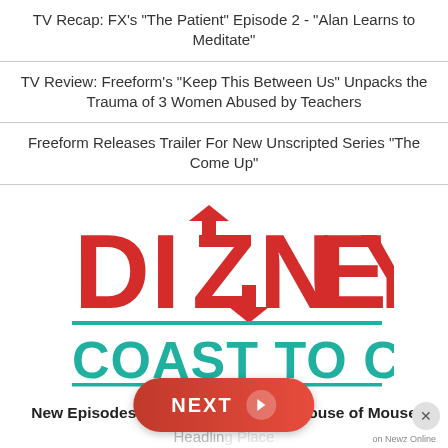TV Recap: FX's "The Patient" Episode 2 - "Alan Learns to Meditate"
TV Review: Freeform's "Keep This Between Us" Unpacks the Trauma of 3 Women Abused by Teachers
Freeform Releases Trailer For New Unscripted Series "The Come Up"
[Figure (logo): Dizney Coast to Coast logo — DIZNEY in large bold red letters with a lightning/arrow Z, COAST TO COAST in teal bold letters below with underline]
New Episodes Every Wednesday — House of Mouse
Headlin... g Place
[Figure (other): NEXT button (red pill-shaped) with arrow, and X close button, on Newz Online ad overlay]